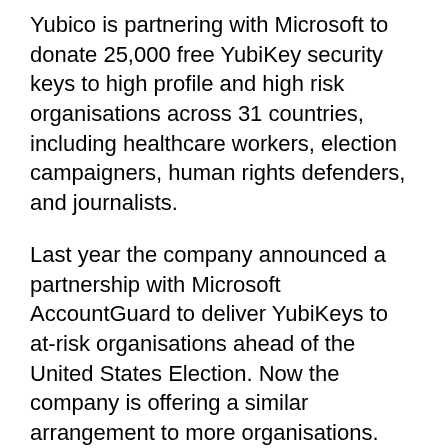Yubico is partnering with Microsoft to donate 25,000 free YubiKey security keys to high profile and high risk organisations across 31 countries, including healthcare workers, election campaigners, human rights defenders, and journalists.
Last year the company announced a partnership with Microsoft AccountGuard to deliver YubiKeys to at-risk organisations ahead of the United States Election. Now the company is offering a similar arrangement to more organisations.
The YubiKey is a form of security key that provides authentication with multi-protocol capabilities. It works across legacy and modern systems.
Yubico states that its vision and mission includes the protection of at-risk and vulnerable populations so that the internet can be safer for all users.
“Free speech is an important human right, and we